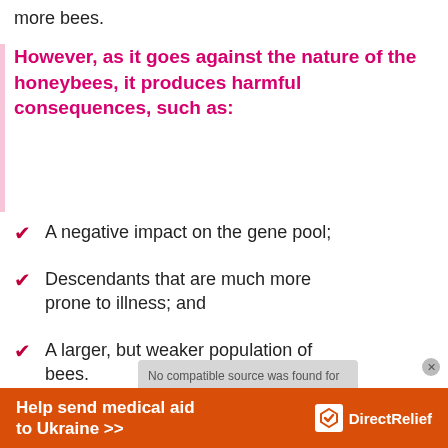more bees.
However, as it goes against the nature of the honeybees, it produces harmful consequences, such as:
A negative impact on the gene pool;
Descendants that are much more prone to illness; and
A larger, but weaker population of bees.